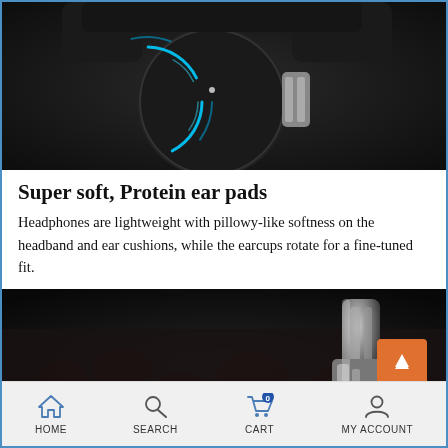[Figure (photo): Close-up product photo of a sleek smartwatch/headphone with dark circular design, silver accents and blue light effects on dark background]
Super soft, Protein ear pads
Headphones are lightweight with pillowy-like softness on the headband and ear cushions, while the earcups rotate for a fine-tuned fit.
[Figure (photo): Close-up photo of leather headphone ear cup with silver metal hinge/adjustment mechanism on dark leather texture background]
HOME  SEARCH  CART  MY ACCOUNT